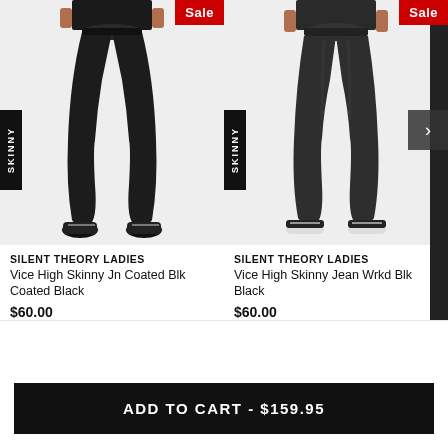[Figure (photo): Woman wearing black skinny high jeans, coated black, with a red Sale badge in top-right corner and a SKINNY label on the left side]
SILENT THEORY LADIES Vice High Skinny Jn Coated Blk Coated Black
$60.00
$99.95
[Figure (photo): Woman wearing black washed skinny high jeans with a red Sale badge in top-right corner and a SKINNY label on the left side, next arrow button on right]
SILENT THEORY LADIES Vice High Skinny Jean Wrkd Blk Black
$60.00
$109.95
ADD TO CART - $159.95